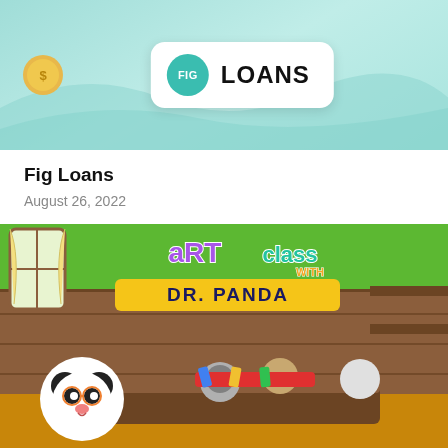[Figure (photo): Fig Loans promotional banner image with teal/mint green background, decorative wave lines, a yellow coin on the left, and a white rounded card in the center displaying the Fig Loans logo (teal circle with 'FIG' text and 'LOANS' in dark letters).]
Fig Loans
August 26, 2022
[Figure (illustration): Colorful children's app promotional image for 'Art Class with Dr. Panda' showing animated cartoon characters including a panda with glasses holding a pencil, a raccoon, a hippo, a hamster, and a penguin sitting at a wooden table with art supplies, set in a green classroom environment with wood-paneled walls and shelves.]